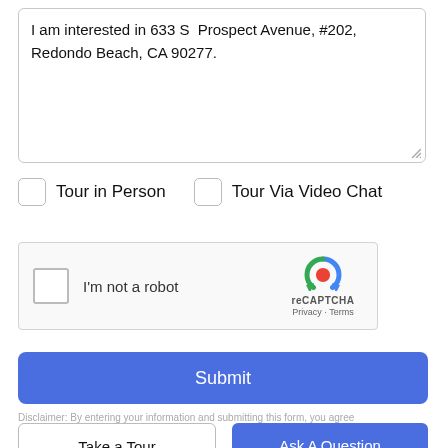I am interested in 633 S Prospect Avenue, #202, Redondo Beach, CA 90277.
Tour in Person
Tour Via Video Chat
[Figure (other): reCAPTCHA widget with checkbox labeled I'm not a robot and reCAPTCHA logo with Privacy and Terms links]
Submit
Disclaimer: By entering your information and submitting this form, you agree
Take a Tour
Ask A Question